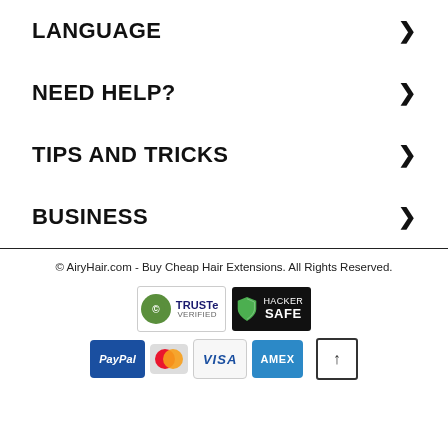LANGUAGE
NEED HELP?
TIPS AND TRICKS
BUSINESS
© AiryHair.com - Buy Cheap Hair Extensions. All Rights Reserved.
[Figure (logo): TRUSTe Verified, Hacker Safe, PayPal, Mastercard, Visa, Amex payment badges and scroll-to-top button]